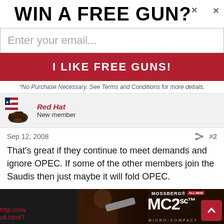WIN A FREE GUN?×
Enter your email...
I LIKE FREE GUNS!
*No Purchase Necessary. See Terms and Conditions for more detials.
Red Hat
New member
Sep 12, 2008  #2
That's great if they continue to meet demands and ignore OPEC. If some of the other members join the Saudis then just maybe it will fold OPEC.

Another good article on this.
[Figure (screenshot): Bottom advertisement banner showing Mossberg MC2sc Micro-Compact firearm advertisement with dark background, gun image, and LEARN MORE button. Also shows a partial URL link in red and a red scroll-up arrow button.]